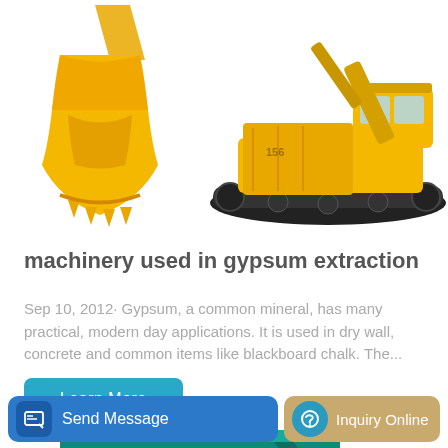[Figure (photo): Yellow excavator bucket (left) and yellow crawler excavator (right) on white background]
machinery used in gypsum extraction
Sep 10, 2012· Gypsum, a common mineral, has many practical, modern day applications. It is used in dry wall, concrete and common items like blackboard chalk. The...
[Figure (photo): Teal/green excavator (partially visible, cropped at bottom of page) with YARD branding]
Send Message | Inquiry Online